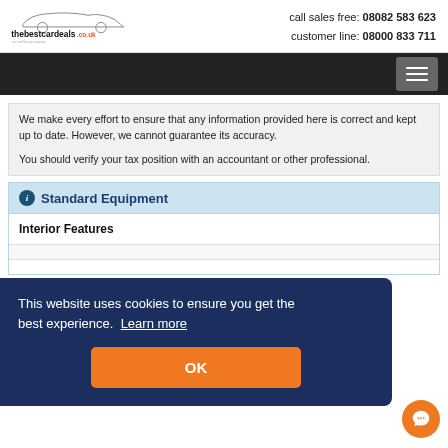thebestcardeals.co.uk | call sales free: 08082 583 623 | customer line: 08000 833 711
We make every effort to ensure that any information provided here is correct and kept up to date. However, we cannot guarantee its accuracy.

You should verify your tax position with an accountant or other professional.
Standard Equipment
Interior Features
This website uses cookies to ensure you get the best experience. Learn more
OK